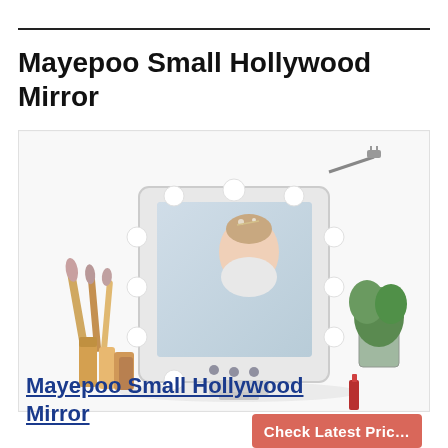Mayepoo Small Hollywood Mirror
[Figure (photo): Product photo of a white Hollywood vanity mirror with LED bulbs around the frame, showing a woman's reflection. Makeup brushes, cosmetics, and a plant are staged around the mirror. A USB cable is visible top right.]
Mayepoo Small Hollywood Mirror
Check Latest Price